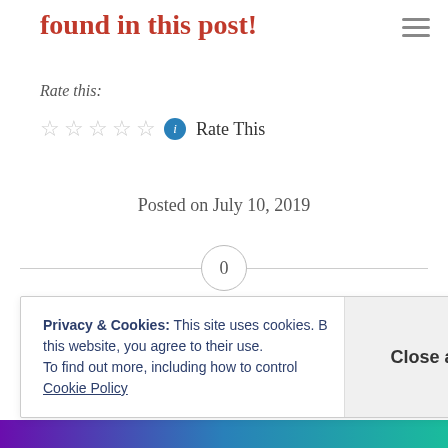found in this post!
Rate this:
☆ ☆ ☆ ☆ ☆  ℹ  Rate This
Posted on July 10, 2019
0
Privacy & Cookies: This site uses cookies. By continuing to use this website, you agree to their use. To find out more, including how to control cookies, see here: Cookie Policy
Close and accept